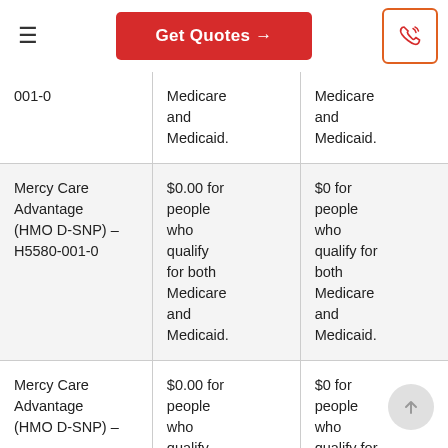Get Quotes →
| Plan Name | Column 2 | Column 3 |
| --- | --- | --- |
| 001-0 | Medicare and Medicaid. | Medicare and Medicaid. |
| Mercy Care Advantage (HMO D-SNP) – H5580-001-0 | $0.00 for people who qualify for both Medicare and Medicaid. | $0 for people who qualify for both Medicare and Medicaid. |
| Mercy Care Advantage (HMO D-SNP) – | $0.00 for people who qualify for both | $0 for people who qualify for both |